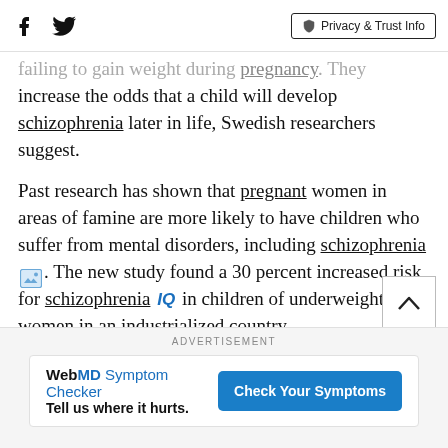Social icons and Privacy & Trust Info
failing to gain weight during pregnancy. They increase the odds that a child will develop schizophrenia later in life, Swedish researchers suggest.
Past research has shown that pregnant women in areas of famine are more likely to have children who suffer from mental disorders, including schizophrenia [image icon]. The new study found a 30 percent increased risk for schizophrenia IQ in children of underweight women in an industrialized country.
ADVERTISEMENT
WebMD Symptom Checker Tell us where it hurts. Check Your Symptoms